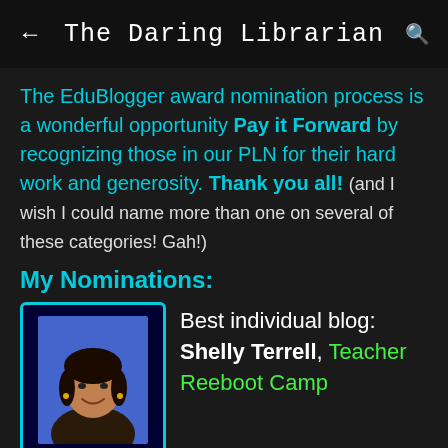The Daring Librarian
The EduBlogger award nomination process is a wonderful opportunity Pay it Forward by recognizing those in our PLN for their hard work and generosity. Thank you all! (and I wish I could name more than one on several of these categories! Gah!)
My Nominations:
[Figure (photo): Portrait photo of a smiling woman with dark hair, blue/purple background]
Best individual blog: Shelly Terrell, Teacher Reeboot Camp